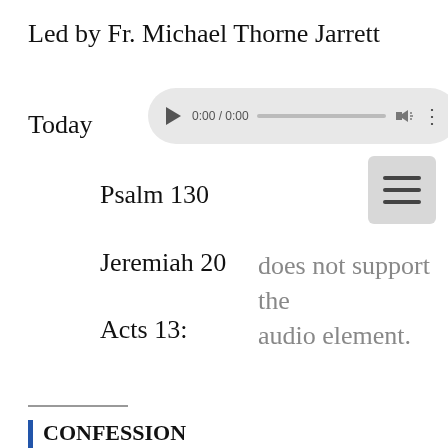Led by Fr. Michael Thorne Jarrett
Today
[Figure (other): Audio player UI element showing 0:00 / 0:00 with play button, progress bar, volume icon, and options dots]
Psalm 130
Jeremiah 20
Acts 13:
Your browser does not support the audio element.
CONFESSION